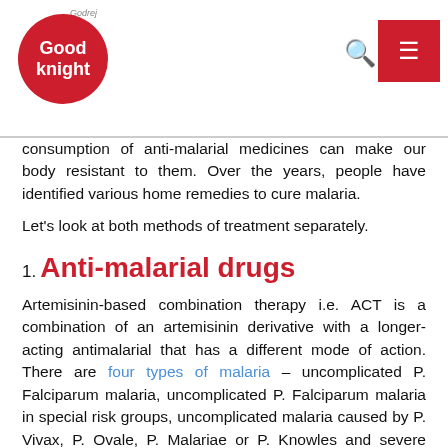Godrej Good knight logo with search and menu navigation
consumption of anti-malarial medicines can make our body resistant to them. Over the years, people have identified various home remedies to cure malaria.
Let's look at both methods of treatment separately.
1. Anti-malarial drugs
Artemisinin-based combination therapy i.e. ACT is a combination of an artemisinin derivative with a longer-acting antimalarial that has a different mode of action. There are four types of malaria – uncomplicated P. Falciparum malaria, uncomplicated P. Falciparum malaria in special risk groups, uncomplicated malaria caused by P. Vivax, P. Ovale, P. Malariae or P. Knowles and severe malaria. There are different dosages of ACT for all the different types of malaria. Source
2. Home remedies
Except in case of allergies, almost all herbal